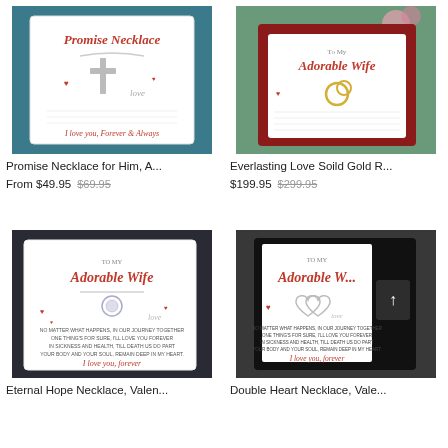[Figure (photo): Promise Necklace product photo showing a cross necklace in a white gift box with a message card saying 'I love you, Forever & Always']
Promise Necklace for Him, A...
From $49.95  $69.95
[Figure (photo): Everlasting Love Solid Gold Ring necklace in a red gift box with a message card 'To My Adorable Wife']
Everlasting Love Soild Gold R...
$199.95  $299.95
[Figure (photo): Eternal Hope Necklace in a white gift box with 'To My Adorable Wife' message card]
Eternal Hope Necklace, Valen...
[Figure (photo): Double Heart Necklace in a black gift box with 'To My Adorable Wife' message card]
Double Heart Necklace, Vale...